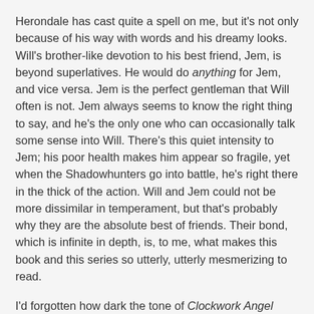Herondale has cast quite a spell on me, but it's not only because of his way with words and his dreamy looks. Will's brother-like devotion to his best friend, Jem, is beyond superlatives. He would do anything for Jem, and vice versa. Jem is the perfect gentleman that Will often is not. Jem always seems to know the right thing to say, and he's the only one who can occasionally talk some sense into Will. There's this quiet intensity to Jem; his poor health makes him appear so fragile, yet when the Shadowhunters go into battle, he's right there in the thick of the action. Will and Jem could not be more dissimilar in temperament, but that's probably why they are the absolute best of friends. Their bond, which is infinite in depth, is, to me, what makes this book and this series so utterly, utterly mesmerizing to read.
I'd forgotten how dark the tone of Clockwork Angel could be. The clockwork automatons are super creepy, and the manner in which some of their parts have been obtained is downright chilling. There's also a fancy soirée filled with vampires, and they're not of the sparkly variety. They don't have time for that because they're too busy sizing up their next meal. In Clockwork Angel, you've got paranormal